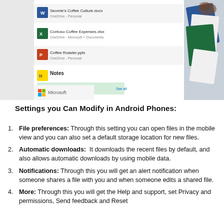[Figure (screenshot): Screenshot of Microsoft OneDrive mobile app showing recent files including Seomie's Coffee Culture.docx, Contoso Coffee Expenses.xlsx, Coffee Roaster.pptx, and Notes, alongside a collage of Office app screens on a smartphone. Microsoft logo visible at left.]
Settings you Can Modify in Android Phones:
File preferences: Through this setting you can open files in the mobile view and you can also set a default storage location for new files.
Automatic downloads: It downloads the recent files by default, and also allows automatic downloads by using mobile data.
Notifications: Through this you will get an alert notification when someone shares a file with you and when someone edits a shared file.
More: Through this you will get the Help and support, set Privacy and permissions, Send feedback and Reset